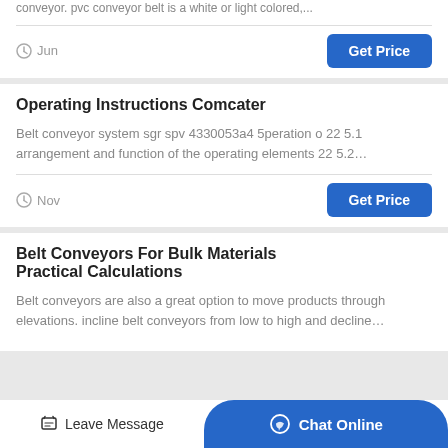conveyor. pvc conveyor belt is a white or light colored,...
Jun
Get Price
Operating Instructions Comcater
Belt conveyor system sgr spv 4330053a4 5peration o 22 5.1 arrangement and function of the operating elements 22 5.2…
Nov
Get Price
Belt Conveyors For Bulk Materials Practical Calculations
Belt conveyors are also a great option to move products through elevations. incline belt conveyors from low to high and decline…
Leave Message
Chat Online